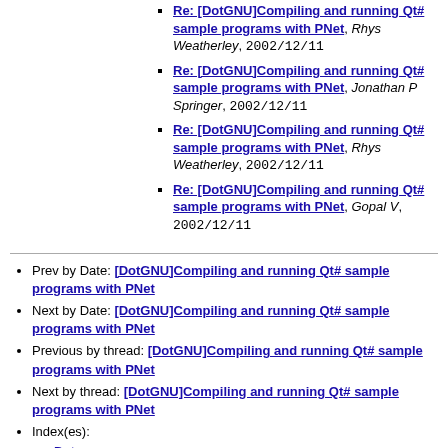Re: [DotGNU]Compiling and running Qt# sample programs with PNet, Rhys Weatherley, 2002/12/11
Re: [DotGNU]Compiling and running Qt# sample programs with PNet, Jonathan P Springer, 2002/12/11
Re: [DotGNU]Compiling and running Qt# sample programs with PNet, Rhys Weatherley, 2002/12/11
Re: [DotGNU]Compiling and running Qt# sample programs with PNet, Gopal V, 2002/12/11
Prev by Date: [DotGNU]Compiling and running Qt# sample programs with PNet
Next by Date: [DotGNU]Compiling and running Qt# sample programs with PNet
Previous by thread: [DotGNU]Compiling and running Qt# sample programs with PNet
Next by thread: [DotGNU]Compiling and running Qt# sample programs with PNet
Index(es): Date, Thread